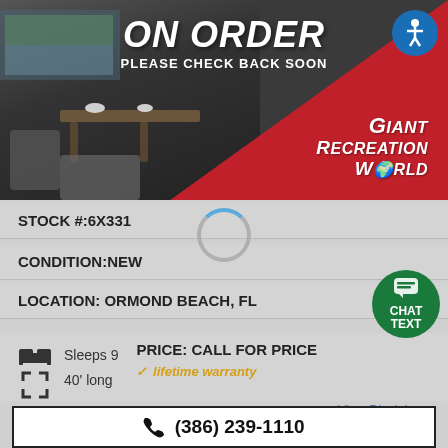[Figure (photo): RV interior photo with 'ON ORDER PLEASE CHECK BACK SOON' overlay text, Giant Recreation World logo in red diagonal section, and accessibility icon]
STOCK #:6X331
CONDITION:NEW
LOCATION: ORMOND BEACH, FL
Sleeps 9
40' long
PRICE: CALL FOR PRICE
✓ lifetime warranty
View Disclaimer
(386) 239-1110